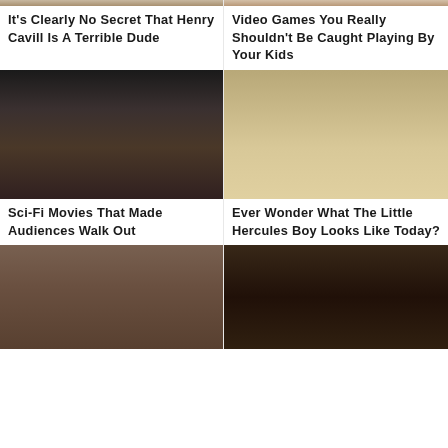[Figure (photo): Partial photo of Henry Cavill (cropped, top portion visible)]
[Figure (photo): Partial photo related to video games article (cropped, top portion visible)]
It's Clearly No Secret That Henry Cavill Is A Terrible Dude
Video Games You Really Shouldn't Be Caught Playing By Your Kids
[Figure (photo): Dark sci-fi movie still — person pinned down by large dark hand/creature]
[Figure (photo): Young muscular boy (Little Hercules) posing in gym]
Sci-Fi Movies That Made Audiences Walk Out
Ever Wonder What The Little Hercules Boy Looks Like Today?
[Figure (photo): Couple with dreadlocks looking at camera]
[Figure (photo): Dark close-up face with wide eyes and dreadlocks]